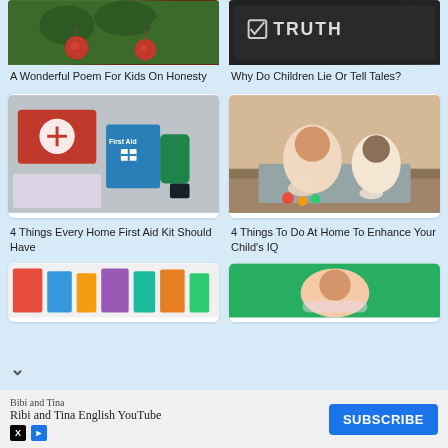[Figure (photo): Cherry tree branch with red cherries and green leaves]
A Wonderful Poem For Kids On Honesty
[Figure (photo): Chalkboard with checkmark and word TRUTH written in chalk]
Why Do Children Lie Or Tell Tales?
[Figure (photo): First Aid kit with Johnson and Johnson box and medical supplies]
4 Things Every Home First Aid Kit Should Have
[Figure (photo): Two children sitting on floor playing with toys near a couch]
4 Things To Do At Home To Enhance Your Child's IQ
[Figure (photo): Colorful toys or items partially visible]
[Figure (photo): Child lying on green grass]
Bibi and Tina
Ribi and Tina English YouTube